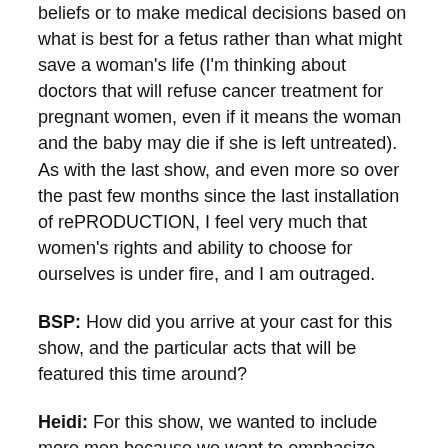beliefs or to make medical decisions based on what is best for a fetus rather than what might save a woman's life (I'm thinking about doctors that will refuse cancer treatment for pregnant women, even if it means the woman and the baby may die if she is left untreated). As with the last show, and even more so over the past few months since the last installation of rePRODUCTION, I feel very much that women's rights and ability to choose for ourselves is under fire, and I am outraged.
BSP: How did you arrive at your cast for this show, and the particular acts that will be featured this time around?
Heidi: For this show, we wanted to include more men because we want to emphasize that these are not "women's issues." So we have included Man Johnson, Billy Corazon, Sir Eddie Van Glam and Ernie Von Schmeidt. We also invited...